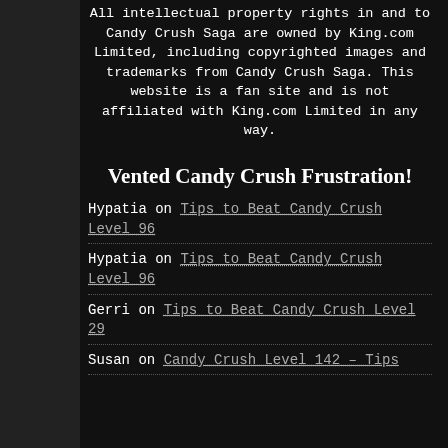All intellectual property rights in and to Candy Crush Saga are owned by King.com Limited, including copyrighted images and trademarks from Candy Crush Saga. This website is a fan site and is not affiliated with King.com Limited in any way.
Vented Candy Crush Frustration!
Hypatia on Tips to Beat Candy Crush Level 96
Hypatia on Tips to Beat Candy Crush Level 96
Gerri on Tips to Beat Candy Crush Level 29
Susan on Candy Crush Level 142 – Tips